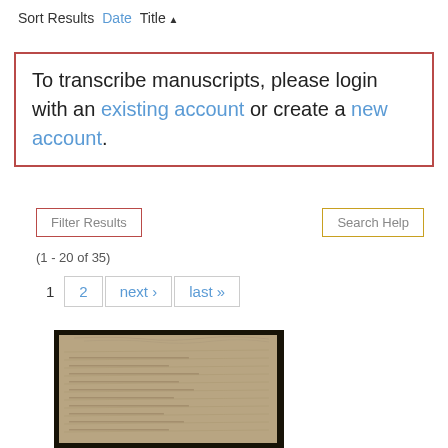Sort Results   Date   Title ▲
To transcribe manuscripts, please login with an existing account or create a new account.
Filter Results
Search Help
(1 - 20 of 35)
1  2  next ›  last »
[Figure (photo): Photograph of an old manuscript page with handwritten text, surrounded by a black border]